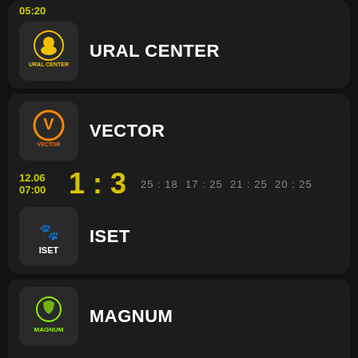05:20
URAL CENTER
12.06 07:00
1 : 3
25:18  17:25  21:25  20:25
VECTOR
ISET
11.06 05:25
3 : 1
25:16  21:25  25:21  25:18
MAGNUM
ISET